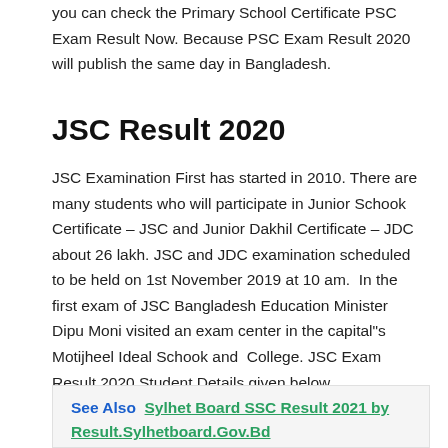you can check the Primary School Certificate PSC Exam Result Now. Because PSC Exam Result 2020 will publish the same day in Bangladesh.
JSC Result 2020
JSC Examination First has started in 2010. There are many students who will participate in Junior Schook Certificate – JSC and Junior Dakhil Certificate – JDC about 26 lakh. JSC and JDC examination scheduled to be held on 1st November 2019 at 10 am.  In the first exam of JSC Bangladesh Education Minister Dipu Moni visited an exam center in the capital"s Motijheel Ideal Schook and  College. JSC Exam Result 2020 Student Details given below
See Also  Sylhet Board SSC Result 2021 by Result.Sylhetboard.Gov.Bd